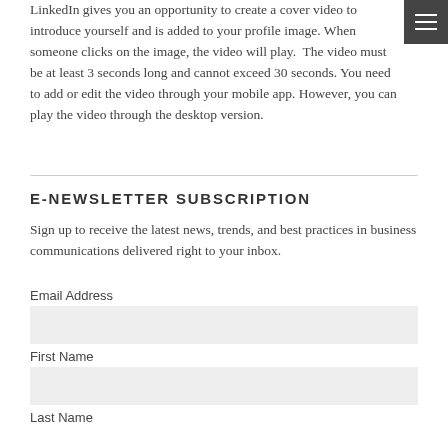LinkedIn gives you an opportunity to create a cover video to introduce yourself and is added to your profile image. When someone clicks on the image, the video will play.  The video must be at least 3 seconds long and cannot exceed 30 seconds. You need to add or edit the video through your mobile app. However, you can play the video through the desktop version.
E-NEWSLETTER SUBSCRIPTION
Sign up to receive the latest news, trends, and best practices in business communications delivered right to your inbox.
Email Address
First Name
Last Name
SUBSCRIBE